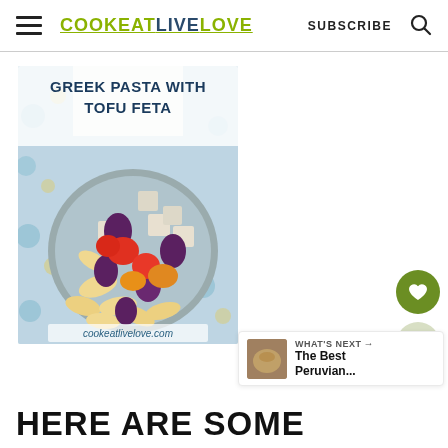COOKEATLIVELOVE   SUBSCRIBE
[Figure (photo): Food blog post image showing Greek Pasta with Tofu Feta in a bowl with bow-tie pasta, olives, tomatoes, and tofu cubes on a decorative blue tile background. Text overlay: 'GREEK PASTA WITH TOFU FETA' and 'cookeatlivelove.com']
WHAT'S NEXT → The Best Peruvian...
HERE ARE SOME